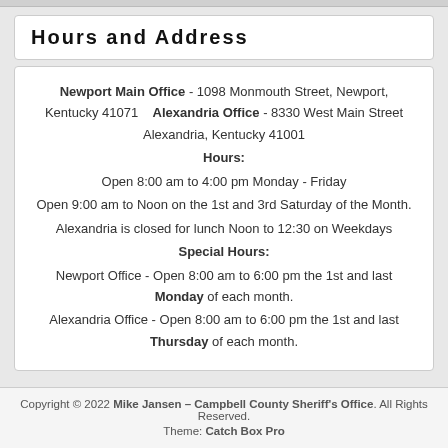Hours and Address
Newport Main Office - 1098 Monmouth Street, Newport, Kentucky 41071    Alexandria Office - 8330 West Main Street Alexandria, Kentucky 41001
Hours:
Open 8:00 am to 4:00 pm Monday - Friday
Open 9:00 am to Noon on the 1st and 3rd Saturday of the Month.
Alexandria is closed for lunch Noon to 12:30 on Weekdays
Special Hours:
Newport Office - Open 8:00 am to 6:00 pm the 1st and last Monday of each month.
Alexandria Office - Open 8:00 am to 6:00 pm the 1st and last Thursday of each month.
Copyright © 2022 Mike Jansen – Campbell County Sheriff's Office. All Rights Reserved.
Theme: Catch Box Pro